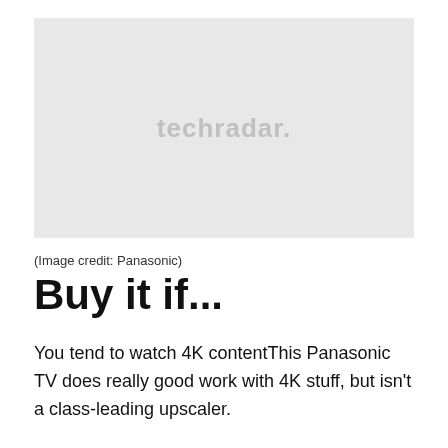[Figure (logo): Placeholder image with 'techradar.' text in white on a light gray background]
(Image credit: Panasonic)
Buy it if...
You tend to watch 4K contentThis Panasonic TV does really good work with 4K stuff, but isn't a class-leading upscaler.